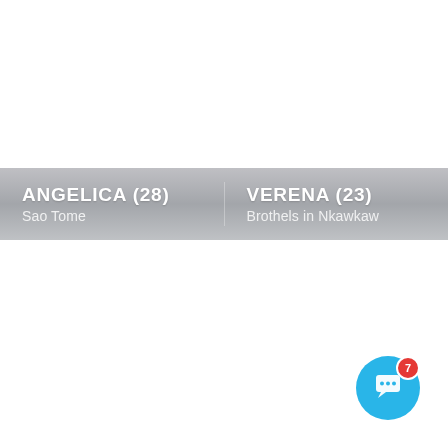ANGELICA (28) — Sao Tome | VERENA (23) — Brothels in Nkawkaw
[Figure (illustration): Chat widget button: blue circle with white speech bubble icon and red badge showing number 7]